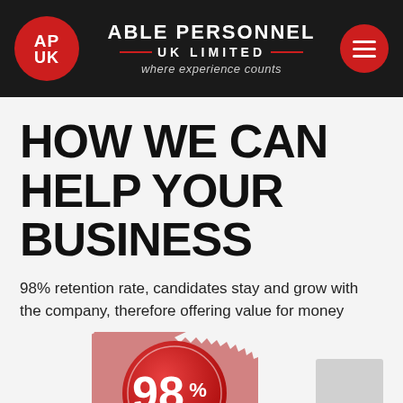[Figure (logo): Able Personnel UK Limited logo with red circle containing AP UK initials, company name, and tagline 'where experience counts' on dark background header with red hamburger menu button]
HOW WE CAN HELP YOUR BUSINESS
98% retention rate, candidates stay and grow with the company, therefore offering value for money
[Figure (infographic): Red badge/seal graphic showing '98% RETENTION RATE' text in white on a crimped circular red badge]